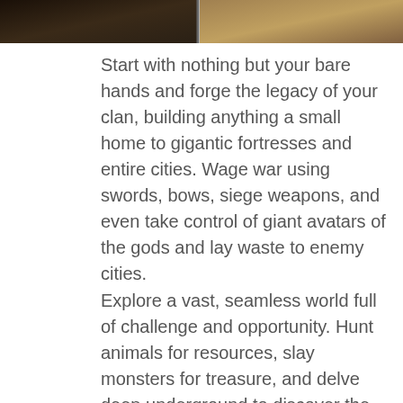[Figure (screenshot): Two side-by-side game screenshots at the top of the page showing dark fantasy game scenes]
Start with nothing but your bare hands and forge the legacy of your clan, building anything a small home to gigantic fortresses and entire cities. Wage war using swords, bows, siege weapons, and even take control of giant avatars of the gods and lay waste to enemy cities.
Explore a vast, seamless world full of challenge and opportunity. Hunt animals for resources, slay monsters for treasure, and delve deep underground to discover the secrets of ancient civilizations.
RUIN PROJECTS
[Figure (screenshot): YouTube video thumbnail showing RuinGaming returns to SWT... with channel avatar and dark fantasy background]